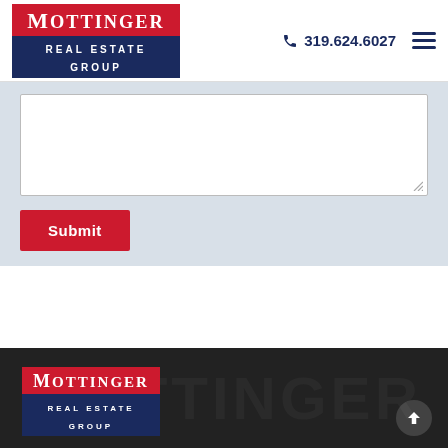[Figure (logo): Mottinger Real Estate Group logo — red top bar with white serif text MOTTINGER, dark blue bottom bar with white sans-serif text REAL ESTATE GROUP]
319.624.6027
[Figure (other): Web form with a textarea and a red Submit button on a light blue-grey background]
[Figure (logo): Mottinger Real Estate Group logo repeated in footer — same red/blue design on dark background]
[Figure (other): Scroll-to-top arrow button in bottom-right corner of dark footer]